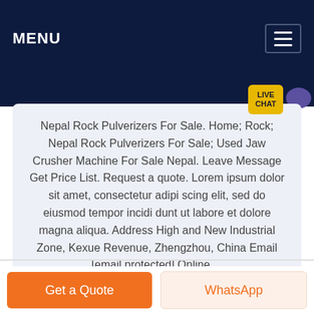MENU
Nepal Rock Pulverizers For Sale. Home; Rock; Nepal Rock Pulverizers For Sale; Used Jaw Crusher Machine For Sale Nepal. Leave Message Get Price List. Request a quote. Lorem ipsum dolor sit amet, consectetur adipi scing elit, sed do eiusmod tempor incidi dunt ut labore et dolore magna aliqua. Address High and New Industrial Zone, Kexue Revenue, Zhengzhou, China Email [email protected] Online ...
Get a Quote
WhatsApp